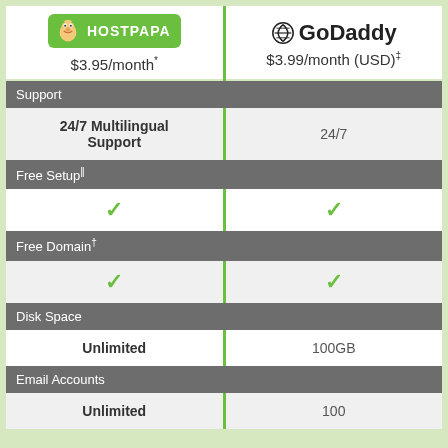| HostPapa $3.95/month* | GoDaddy $3.99/month (USD)‡ |
| --- | --- |
| Support |  |
| 24/7 Multilingual Support | 24/7 |
| Free Setup‖ |  |
| ✓ | ✓ |
| Free Domain† |  |
| ✓ | ✓ |
| Disk Space |  |
| Unlimited | 100GB |
| Email Accounts |  |
| Unlimited | 100 |